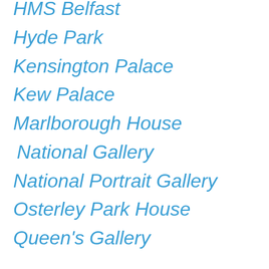HMS Belfast
Hyde Park
Kensington Palace
Kew Palace
Marlborough House
National Gallery
National Portrait Gallery
Osterley Park House
Queen's Gallery